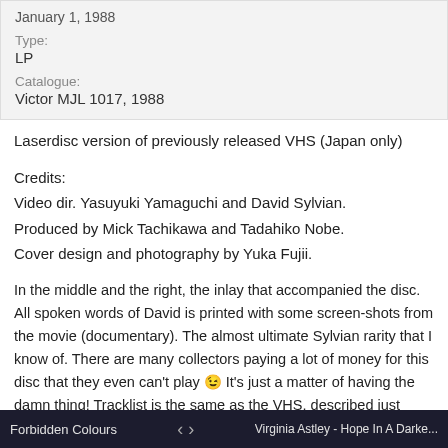| January 1, 1988 |
| Type: | LP |
| Catalogue: | Victor MJL 1017, 1988 |
Laserdisc version of previously released VHS (Japan only)
Credits:
Video dir. Yasuyuki Yamaguchi and David Sylvian.
Produced by Mick Tachikawa and Tadahiko Nobe.
Cover design and photography by Yuka Fujii.
In the middle and the right, the inlay that accompanied the disc. All spoken words of David is printed with some screen-shots from the movie (documentary). The almost ultimate Sylvian rarity that I know of. There are many collectors paying a lot of money for this disc that they even can't play 😉 It's just a matter of having the damn thing! Tracklist is the same as the VHS, described just above.
Spoken text:
Forbidden Colours   < >   Virginia Astley - Hope In A Darke...